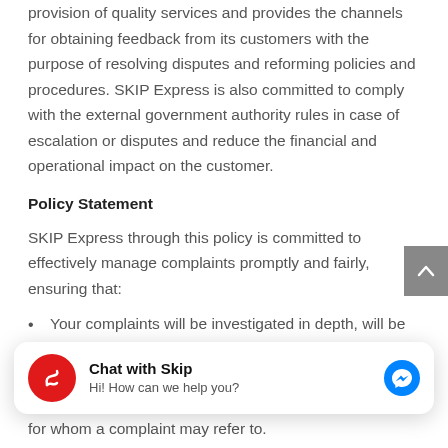provision of quality services and provides the channels for obtaining feedback from its customers with the purpose of resolving disputes and reforming policies and procedures. SKIP Express is also committed to comply with the external government authority rules in case of escalation or disputes and reduce the financial and operational impact on the customer.
Policy Statement
SKIP Express through this policy is committed to effectively manage complaints promptly and fairly, ensuring that:
Your complaints will be investigated in depth, will be handled in an efficient and effective
[Figure (screenshot): Chat widget overlay with red SKIP Express logo, bold text 'Chat with Skip', subtitle 'Hi! How can we help you?', and blue Facebook Messenger icon on the right.]
for whom a complaint may refer to.